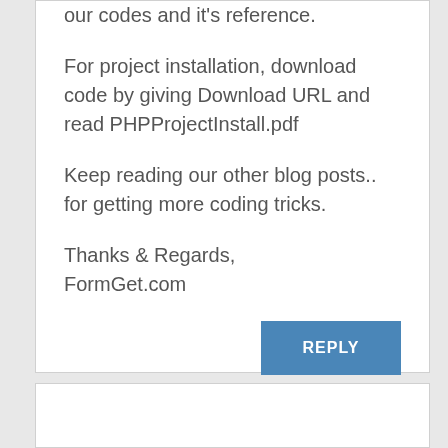our codes and it's reference.
For project installation, download code by giving Download URL and read PHPProjectInstall.pdf
Keep reading our other blog posts.. for getting more coding tricks.
Thanks & Regards,
FormGet.com